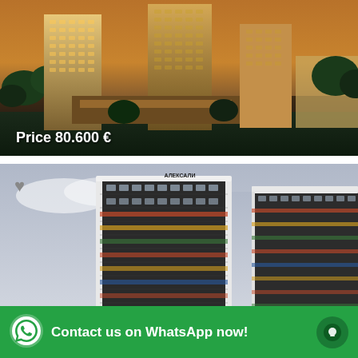[Figure (photo): Aerial view of modern high-rise residential towers at dusk, with trees and lower buildings surrounding them.]
Price 80.600 €
[Figure (photo): Street-level view of a modern residential apartment complex with dark cladding and white trim, multiple floors, colorful balconies. Sign reads АЛЕКСАЛИ on rooftop.]
Contact us on WhatsApp now!